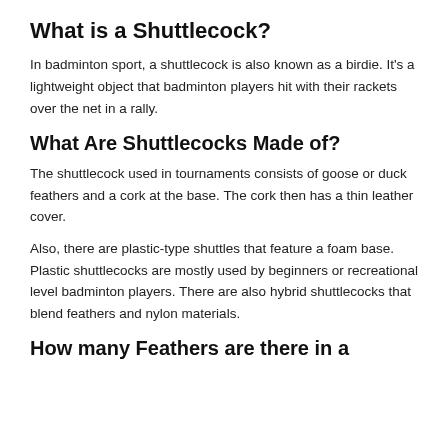What is a Shuttlecock?
In badminton sport, a shuttlecock is also known as a birdie. It's a lightweight object that badminton players hit with their rackets over the net in a rally.
What Are Shuttlecocks Made of?
The shuttlecock used in tournaments consists of goose or duck feathers and a cork at the base. The cork then has a thin leather cover.
Also, there are plastic-type shuttles that feature a foam base. Plastic shuttlecocks are mostly used by beginners or recreational level badminton players. There are also hybrid shuttlecocks that blend feathers and nylon materials.
How many Feathers are there in a